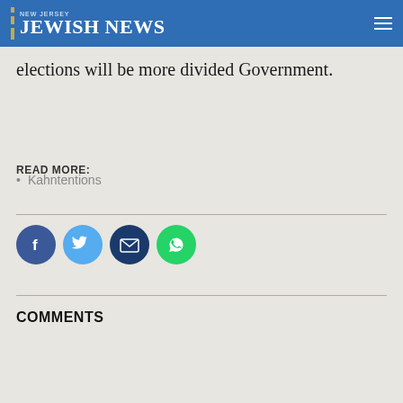NEW JERSEY JEWISH NEWS
elections will be more divided Government.
READ MORE:
Kahntentions
[Figure (infographic): Social share buttons: Facebook, Twitter, Email, WhatsApp]
COMMENTS